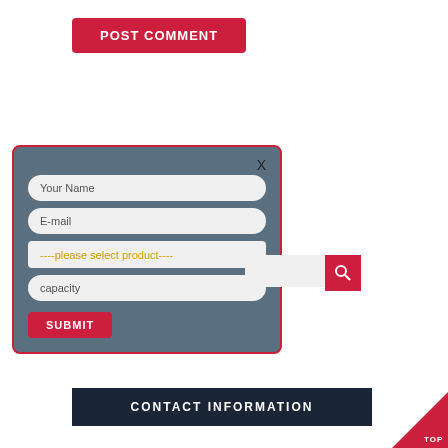[Figure (screenshot): Red 'POST COMMENT' button at top of page]
[Figure (screenshot): Modal form with fields: Your Name, E-mail, product selector, capacity, and a SUBMIT button on a dark teal background with red border]
[Figure (screenshot): Search bar with input and red search icon button]
[Figure (screenshot): Dark navy CONTACT INFORMATION bar at bottom with red TOP arrow button]